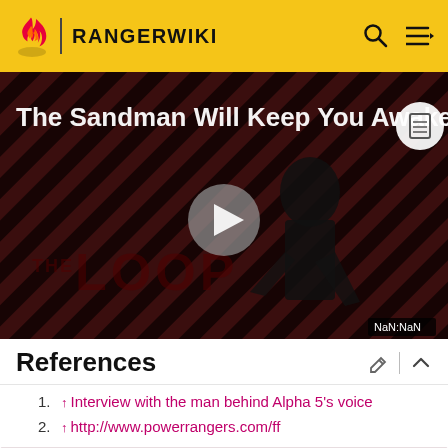RANGERWIKI
[Figure (screenshot): Video player thumbnail showing 'The Sandman Will Keep You Awake' with a dark figure against a striped red/black background. The Loop logo is visible. Play button in center. Time shows NaN:NaN.]
References
↑ Interview with the man behind Alpha 5's voice
↑ http://www.powerrangers.com/ff
Zordon Era